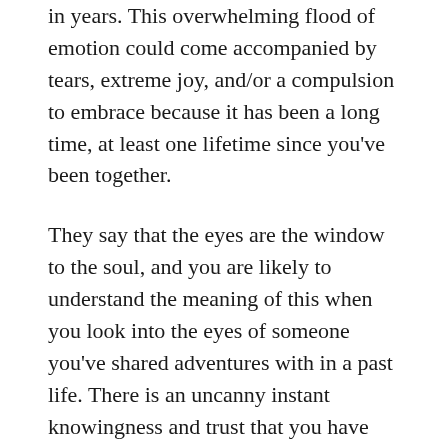in years. This overwhelming flood of emotion could come accompanied by tears, extreme joy, and/or a compulsion to embrace because it has been a long time, at least one lifetime since you've been together.
They say that the eyes are the window to the soul, and you are likely to understand the meaning of this when you look into the eyes of someone you've shared adventures with in a past life. There is an uncanny instant knowingness and trust that you have shared experiences and you get a feeling, if not a glimpse, of this feeling of shared experiences. This shared trust allows you to drop human pretenses and feel like you can be open and honest with this person because you share this